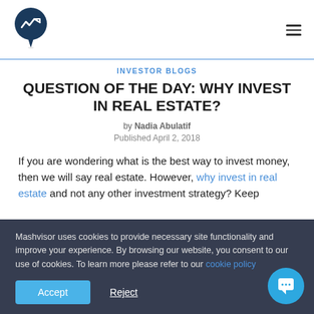[Figure (logo): Mashvisor logo - map pin icon with chart symbol, dark blue circle]
INVESTOR BLOGS
QUESTION OF THE DAY: WHY INVEST IN REAL ESTATE?
by Nadia Abulatif
Published April 2, 2018
If you are wondering what is the best way to invest money, then we will say real estate. However, why invest in real estate and not any other investment strategy? Keep
Mashvisor uses cookies to provide necessary site functionality and improve your experience. By browsing our website, you consent to our use of cookies. To learn more please refer to our cookie policy